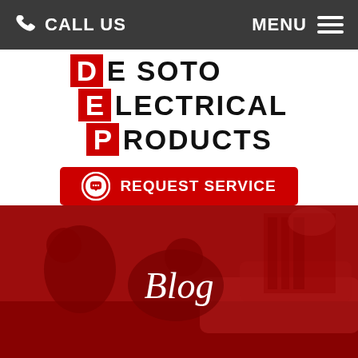CALL US   MENU
DE SOTO ELECTRICAL PRODUCTS
[Figure (other): Red button with phone/chat icon and text REQUEST SERVICE]
[Figure (photo): Red-tinted photo of people in a living room with 'Blog' text overlay]